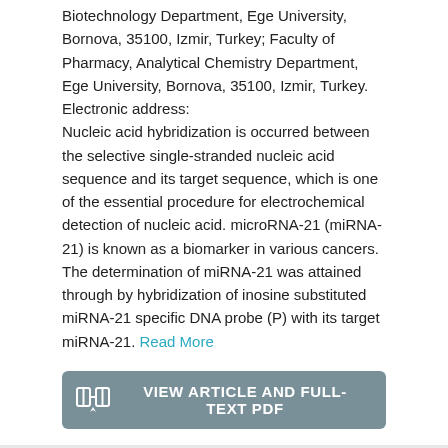Biotechnology Department, Ege University, Bornova, 35100, Izmir, Turkey; Faculty of Pharmacy, Analytical Chemistry Department, Ege University, Bornova, 35100, Izmir, Turkey. Electronic address: Nucleic acid hybridization is occurred between the selective single-stranded nucleic acid sequence and its target sequence, which is one of the essential procedure for electrochemical detection of nucleic acid. microRNA-21 (miRNA-21) is known as a biomarker in various cancers. The determination of miRNA-21 was attained through by hybridization of inosine substituted miRNA-21 specific DNA probe (P) with its target miRNA-21. Read More
[Figure (other): Button: VIEW ARTICLE AND FULL-TEXT PDF with open book icon on left side, gray background]
August 2022
Similar Publications